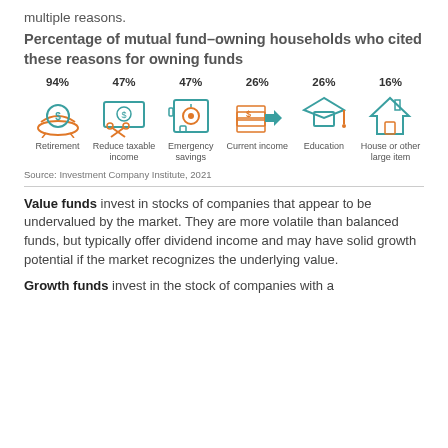multiple reasons.
Percentage of mutual fund–owning households who cited these reasons for owning funds
[Figure (infographic): Six icons with percentages: Retirement 94%, Reduce taxable income 47%, Emergency savings 47%, Current income 26%, Education 26%, House or other large item 16%]
Source: Investment Company Institute, 2021
Value funds invest in stocks of companies that appear to be undervalued by the market. They are more volatile than balanced funds, but typically offer dividend income and may have solid growth potential if the market recognizes the underlying value.
Growth funds invest in the stock of companies with a